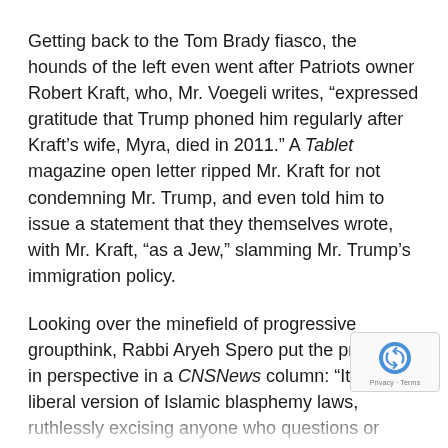Getting back to the Tom Brady fiasco, the hounds of the left even went after Patriots owner Robert Kraft, who, Mr. Voegeli writes, “expressed gratitude that Trump phoned him regularly after Kraft’s wife, Myra, died in 2011.” A Tablet magazine open letter ripped Mr. Kraft for not condemning Mr. Trump, and even told him to issue a statement that they themselves wrote, with Mr. Kraft, “as a Jew,” slamming Mr. Trump’s immigration policy.
Looking over the minefield of progressive groupthink, Rabbi Aryeh Spero put the problem in perspective in a CNSNews column: “It is the liberal version of Islamic blasphemy laws, ruthlessly excising anyone who questions or strays from the left-wing cultural and social dogmas. It is the most un-American development in our lifetime.”
And it’s all part of the socialists’ war on nature and